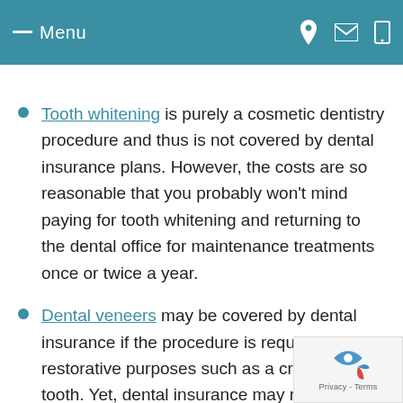Menu
Tooth whitening is purely a cosmetic dentistry procedure and thus is not covered by dental insurance plans. However, the costs are so reasonable that you probably won't mind paying for tooth whitening and returning to the dental office for maintenance treatments once or twice a year.
Dental veneers may be covered by dental insurance if the procedure is required for restorative purposes such as a cracked tooth. Yet, dental insurance may not be